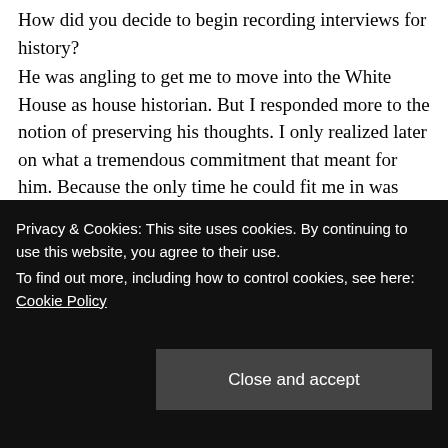How did you decide to begin recording interviews for history?
He was angling to get me to move into the White House as house historian. But I responded more to the notion of preserving his thoughts. I only realized later on what a tremendous commitment that meant for him. Because the only time he could fit me in was when he was tired. There were stunning moments; I would be talking to him late at night and his eyes would go up, just roll back in his head. He would fall asleep in the middle of a sentence.
Privacy & Cookies: This site uses cookies. By continuing to use this website, you agree to their use.
To find out more, including how to control cookies, see here: Cookie Policy
Close and accept
recorder the whole time. It must have been